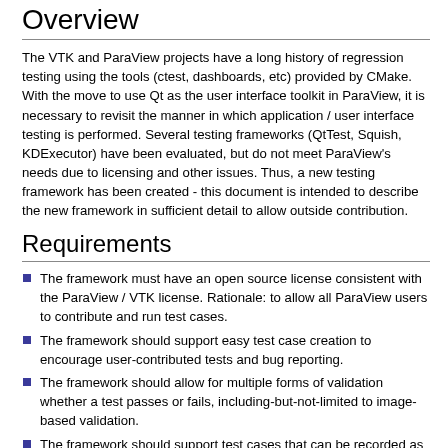Overview
The VTK and ParaView projects have a long history of regression testing using the tools (ctest, dashboards, etc) provided by CMake. With the move to use Qt as the user interface toolkit in ParaView, it is necessary to revisit the manner in which application / user interface testing is performed. Several testing frameworks (QtTest, Squish, KDExecutor) have been evaluated, but do not meet ParaView's needs due to licensing and other issues. Thus, a new testing framework has been created - this document is intended to describe the new framework in sufficient detail to allow outside contribution.
Requirements
The framework must have an open source license consistent with the ParaView / VTK license. Rationale: to allow all ParaView users to contribute and run test cases.
The framework should support easy test case creation to encourage user-contributed tests and bug reporting.
The framework should allow for multiple forms of validation whether a test passes or fails, including-but-not-limited to image-based validation.
The framework should support test cases that can be recorded as scripts. Rationale: a test case recorded as a script can apply complex logic for quantitative verification and validation of results. For example,